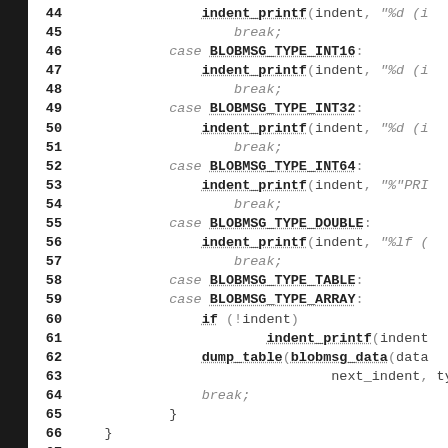[Figure (screenshot): Source code listing showing C code with line numbers 44-73, including switch-case statements for BLOBMSG_TYPE_INT16, INT32, INT64, DOUBLE, TABLE, ARRAY cases with indent_printf and dump_table calls, followed by an enum definition with FOO_MESSAGE, FOO_LIST, FOO_TESTDATA values.]